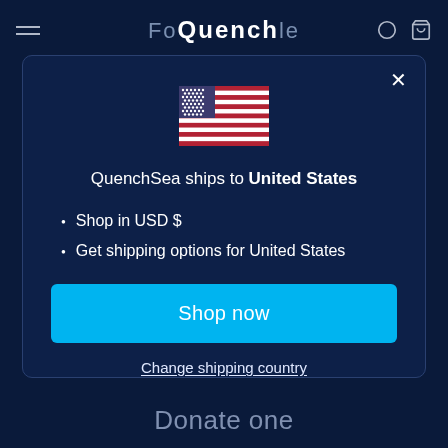Fo Quench le
[Figure (screenshot): Modal dialog on a dark navy blue website background. Contains a US flag emoji, text 'QuenchSea ships to United States', bullet points for USD and shipping options, a cyan 'Shop now' button, and a 'Change shipping country' link.]
QuenchSea ships to United States
Shop in USD $
Get shipping options for United States
Shop now
Change shipping country
Donate one
For every QuenchSea you